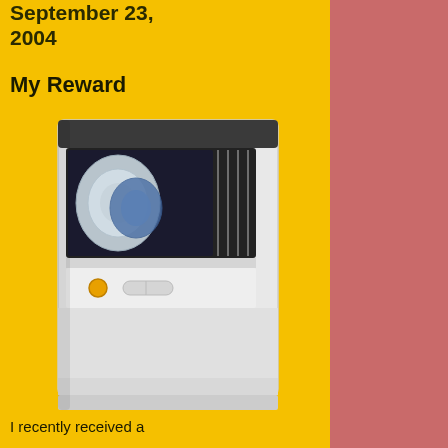September 23, 2004
My Reward
[Figure (photo): A white dishwasher with its door open slightly, revealing plates and dishes inside. The appliance is shown in full from front angle.]
I recently received a